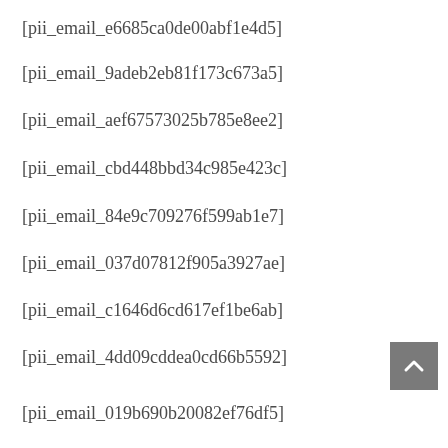[pii_email_e6685ca0de00abf1e4d5]
[pii_email_9adeb2eb81f173c673a5]
[pii_email_aef67573025b785e8ee2]
[pii_email_cbd448bbd34c985e423c]
[pii_email_84e9c709276f599ab1e7]
[pii_email_037d07812f905a3927ae]
[pii_email_c1646d6cd617ef1be6ab]
[pii_email_4dd09cddea0cd66b5592]
[pii_email_019b690b20082ef76df5]